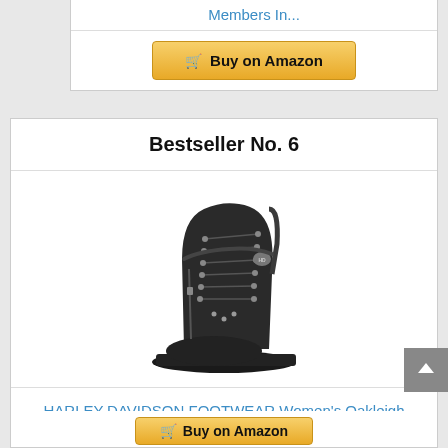Members In...
Buy on Amazon
Bestseller No. 6
[Figure (photo): Black Harley-Davidson women's Oakleigh motorcycle boot, lace-up with metal eyelets and studs, chunky rubber sole]
HARLEY-DAVIDSON FOOTWEAR Women's Oakleigh Motorcycle Boot, Black, 09.0 Medium US
Buy on Amazon